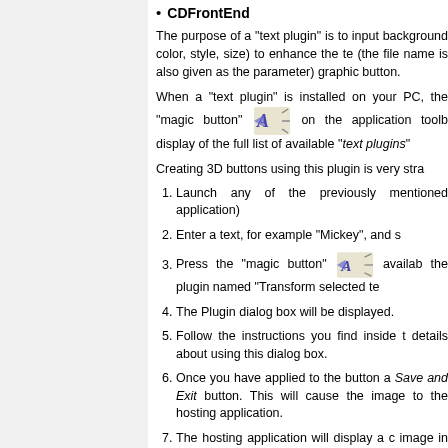CDFrontEnd
The purpose of a "text plugin" is to input background color, style, size) to enhance the te (the file name is also given as the parameter) graphic button.
When a "text plugin" is installed on your PC, the "magic button" [icon] on the application toolb display of the full list of available "text plugins"
Creating 3D buttons using this plugin is very stra
Launch any of the previously mentioned application)
Enter a text, for example "Mickey", and s
Press the "magic button" [icon] availab the plugin named "Transform selected te
The Plugin dialog box will be displayed.
Follow the instructions you find inside t details about using this dialog box.
Once you have applied to the button a Save and Exit button. This will cause the image to the hosting application.
The hosting application will display a c image in JPEG or GIF format, applying